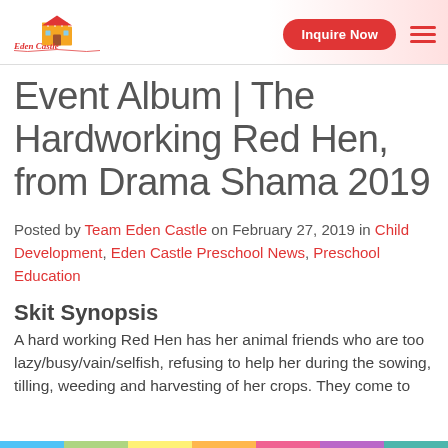[Figure (logo): Eden Castle preschool logo with colorful castle icon and handwritten text]
Inquire Now
Event Album | The Hardworking Red Hen, from Drama Shama 2019
Posted by Team Eden Castle on February 27, 2019 in Child Development, Eden Castle Preschool News, Preschool Education
Skit Synopsis
A hard working Red Hen has her animal friends who are too lazy/busy/vain/selfish, refusing to help her during the sowing, tilling, weeding and harvesting of her crops. They come to